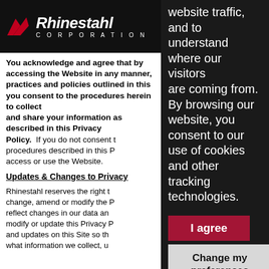[Figure (logo): Rhinestahl Corporation logo with red arrow icon and white italic text on black background]
You acknowledge and agree that by accessing the Website in any manner, you have read our practices and policies outlined in this Privacy Policy, you consent to the procedures described herein to collect and share your information as described in this Privacy Policy. If you do not consent to the use of the procedures described in this Privacy Policy, do not access or use the Website.
Updates & Changes to Privacy
Rhinestahl reserves the right to change, amend or modify the Privacy Policy to reflect changes in our data and may modify or update this Privacy Policy and updates on this Site so that what information we collect, u
website traffic, and to understand where our visitors are coming from. By browsing our website, you consent to our use of cookies and other tracking technologies.
[Figure (other): I agree button - red background with white text]
[Figure (other): Change my preferences button - light gray background with dark text]